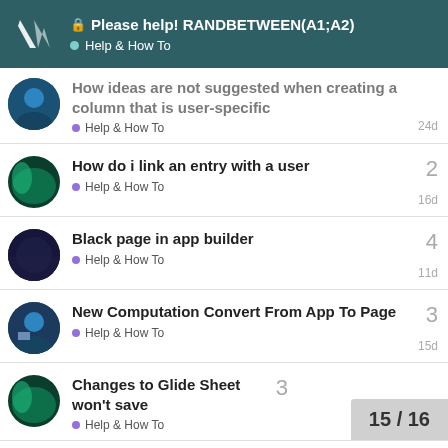Please help! RANDBETWEEN(A1;A2) — Help & How To
How ideas are not suggested when creating a column that is user-specific • Help & How To — 24d
How do i link an entry with a user • Help & How To — 16d — 2 replies
Black page in app builder • Help & How To — 11d — 4 replies
New Computation Convert From App To Page • Help & How To — 15d — 3 replies
Changes to Glide Sheet won't save • Help & How To — 3 replies
15 / 16